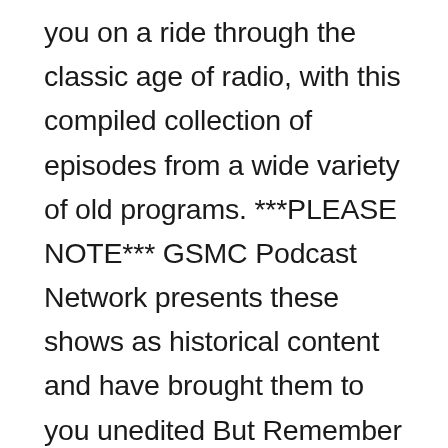you on a ride through the classic age of radio, with this compiled collection of episodes from a wide variety of old programs. ***PLEASE NOTE*** GSMC Podcast Network presents these shows as historical content and have brought them to you unedited But Remember that times have changed and some shows might not reflect the standards of today's politically correct society. The shows do not necessarily reflect the views, standards, or beliefs of Golden State Media Concepts or the GSMC Podcast Network. Our goal is to entertain, educate,